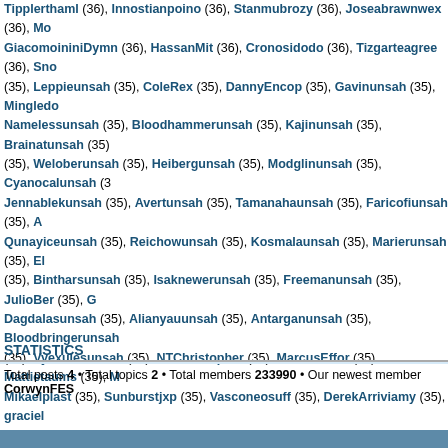Tipplerthaml (36), Innostianpoino (36), Stanmubrozy (36), Joseabrawnwex (36), Mo GiacomoininiDymn (36), HassanMit (36), Cronosidodo (36), Tizgarteagree (36), Sno (35), Leppieunsah (35), ColeRex (35), DannyEncop (35), Gavinunsah (35), Mingledo Namelessunsah (35), Bloodhammerunsah (35), Kajinunsah (35), Brainatunsah (35) (35), Weloberunsah (35), Heibergunsah (35), Modglinunsah (35), Cyanocalunsah (3 Jennablekunsah (35), Avertunsah (35), Tamanahaunsah (35), Faricofiunsah (35), A Qunayiceunsah (35), Reichowunsah (35), Kosmalaunsah (35), Marierunsah (35), El (35), Bintharsunsah (35), Isaknewerunsah (35), Freemanunsah (35), JulioBer (35), G Dagdalasunsah (35), Alianyauunsah (35), Antarganunsah (35), Bloodbringerunsah (35), Vyexulesunsah (35), NTChristopher (35), MarcusEffor (35), Mattietaums (35), M Mikaelplast (35), Sunburstjxp (35), Vasconeosuff (35), DerekArriviamy (35), graciel (35), RobertTwews (35), BramDepsy (35), Vasdipahow (35), BasiralindBinA (35), Br Iljaodolo (35), TragakIncetssem (35), Folleckchommibia (35), Stanmig (35), Folleck Barracknustorn (35), rebeccaoq18 (35), Ronaldplads (35), Knuthef (35), MarusAcou Mirzocoida (35), MurakAppeddy (35), Javierascerma (35), LLEarl (35), DawsonUpli (35), Davidfergo (35), HaukeNuacy (35), MarcusExalk (35), Haukesaums (35), Thora (35), doorsprMox (35), Inogmot (35), KorazVup (35), MatthewLek (35), NerusulNug Poestociodeli (34), Aterasmep (34), exifflic (34), Alesatok (34), wertkuix (34), Ronar RhobarTet (34), Fordmeazody (34), CruzRhydaygag (34), Gavriiilskymn (34), QCAlv ShachPlasy (34), RonaldSereE (34), HassanRuilt (34), JoshLar (34), lizwx3 (34), He DarylbroorokeR (34), Curtisantilla (34), Eusebiogralp (34), FelipeImpomaLup (34), I Evgenydpr (34), Evgenyrhb (34), Evgenyrxv (34), Evgenyefa (34), LauraCarce (34), Brontobbfer (34), Kaffuflulugs (34), ArokkhLex (34), Grubuzorefe (34), DelazarZot ( EsielUPHOTTCOR (34), Brontobbsag (34), Arokkhwen (34), Chrisnuarf (34), Ramon TangachPienseRed (34), ccoolerpira (34), Ayitosinquigluh (34), Cyrustreasia (34), G Hengleyacafe (34)
STATISTICS
Total posts 4 • Total topics 2 • Total members 233990 • Our newest member CorwynFES